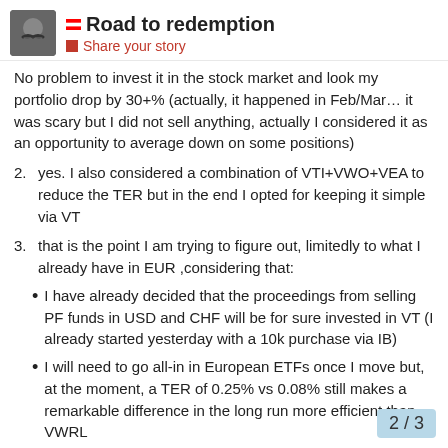Road to redemption — Share your story
No problem to invest it in the stock market and look my portfolio drop by 30+% (actually, it happened in Feb/Mar… it was scary but I did not sell anything, actually I considered it as an opportunity to average down on some positions)
2. yes. I also considered a combination of VTI+VWO+VEA to reduce the TER but in the end I opted for keeping it simple via VT
3. that is the point I am trying to figure out, limitedly to what I already have in EUR ,considering that:
I have already decided that the proceedings from selling PF funds in USD and CHF will be for sure invested in VT (I already started yesterday with a 10k purchase via IB)
I will need to go all-in in European ETFs once I move but, at the moment, a TER of 0.25% vs 0.08% still makes a remarkable difference in the long run more efficient than VWRL
2 / 3